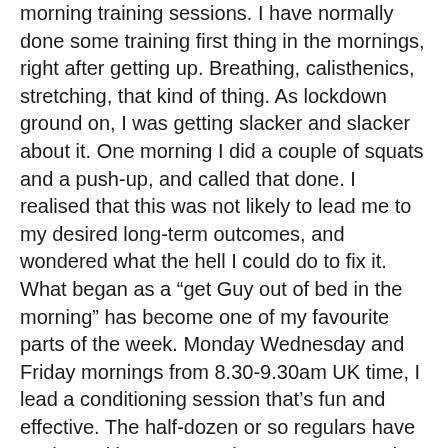morning training sessions. I have normally done some training first thing in the mornings, right after getting up. Breathing, calisthenics, stretching, that kind of thing. As lockdown ground on, I was getting slacker and slacker about it. One morning I did a couple of squats and a push-up, and called that done. I realised that this was not likely to lead me to my desired long-term outcomes, and wondered what the hell I could do to fix it. What began as a "get Guy out of bed in the morning" has become one of my favourite parts of the week. Monday Wednesday and Friday mornings from 8.30-9.30am UK time, I lead a conditioning session that's fun and effective. The half-dozen or so regulars have coalesced into a group that even get together at other times to train when I'm not there! Having students show up makes it super-easy for me to be awake, engaged, and actually train. New members are always welcome, if you'd like to join us. The exercise is great for my physical health- I'm way fitter now than I was in June. But actually the short chats we have at the end of the sessions are also good for me, and a great bonding